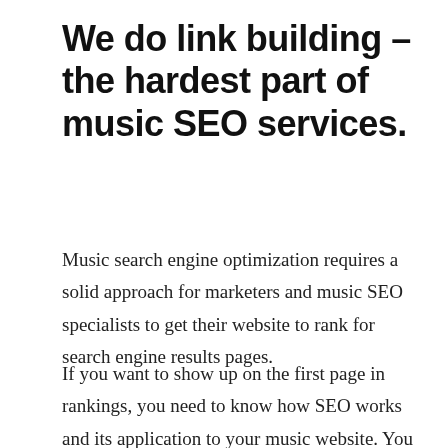We do link building – the hardest part of music SEO services.
Music search engine optimization requires a solid approach for marketers and music SEO specialists to get their website to rank for search engine results pages.
If you want to show up on the first page in rankings, you need to know how SEO works and its application to your music website. You must know how to do keyword research, SEO audit, link building, while giving time for other